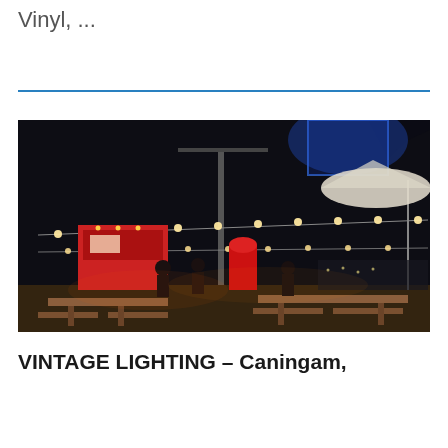Vinyl, …
[Figure (photo): Night outdoor event with vintage string lights, food trucks, people mingling, picnic tables in the foreground, and a blue-lit structure overhead.]
VINTAGE LIGHTING – Caningam,